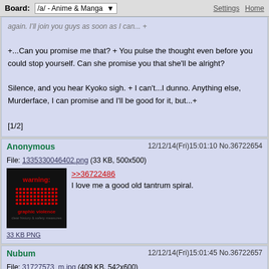Board: /a/ - Anime & Manga | Settings | Home
again. I'll join you guys as soon as I can...+
+...Can you promise me that? + You pulse the thought even before you could stop yourself. Can she promise you that she'll be alright?
Silence, and you hear Kyoko sigh. + I can't...I dunno. Anything else, Murderface, I can promise and I'll be good for it, but...+
[1/2]
Anonymous  12/12/14(Fri)15:01:10 No.36722654
File: 1335330046402.png (33 KB, 500x500)
[Figure (illustration): Warning: graphic violence image thumbnail - black background with red wavy lines and text]
>>36722486
I love me a good old tantrum spiral.
33 KB PNG
Nubum  12/12/14(Fri)15:01:45 No.36722657
File: 31727573_m.jpg (409 KB, 542x600)
[Figure (illustration): Anime character thumbnail - colorful anime girl figure]
>>36722636
What do you know, it worked!